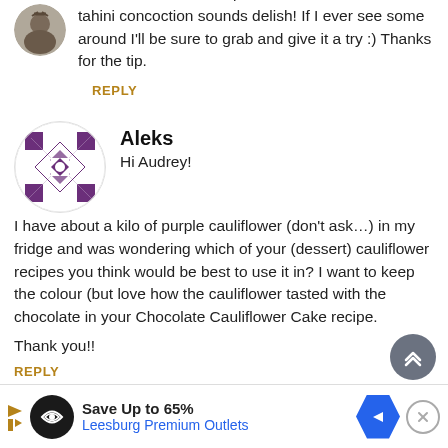around here in the shops ever, but that carob + tahini concoction sounds delish! If I ever see some around I'll be sure to grab and give it a try :) Thanks for the tip.
REPLY
Aleks
Hi Audrey!
I have about a kilo of purple cauliflower (don't ask...) in my fridge and was wondering which of your (dessert) cauliflower recipes you think would be best to use it in? I want to keep the colour (but love how the cauliflower tasted with the chocolate in your Chocolate Cauliflower Cake recipe.
Thank you!!
REPLY
[Figure (other): Scroll to top button - grey circle with double up chevron icon]
[Figure (other): Advertisement bar: Save Up to 65% Leesburg Premium Outlets with logo and arrow icon]